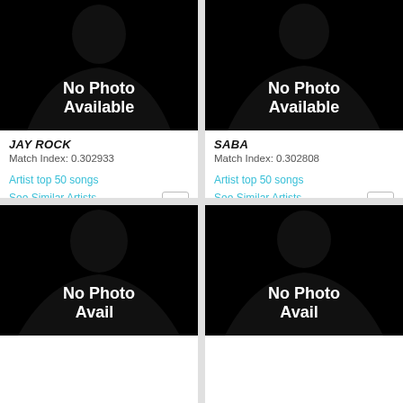[Figure (photo): No Photo Available silhouette placeholder for Jay Rock]
JAY ROCK
Match Index: 0.302933
Artist top 50 songs
See Similar Artists
See Artist Info
[Figure (photo): No Photo Available silhouette placeholder for Saba]
SABA
Match Index: 0.302808
Artist top 50 songs
See Similar Artists
See Artist Info
[Figure (photo): No Photo Available silhouette placeholder, artist name not visible]
[Figure (photo): No Photo Available silhouette placeholder, artist name not visible]